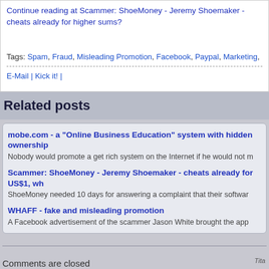Continue reading at Scammer: ShoeMoney - Jeremy Shoemaker - cheats already for higher sums?
Tags: Spam, Fraud, Misleading Promotion, Facebook, Paypal, Marketing,
E-Mail | Kick it! |
Related posts
mobe.com - a "Online Business Education" system with hidden ownership
Nobody would promote a get rich system on the Internet if he would not m
Scammer: ShoeMoney - Jeremy Shoemaker - cheats already for US$1, wh
ShoeMoney needed 10 days for answering a complaint that their softwar
WHAFF - fake and misleading promotion
A Facebook advertisement of the scammer Jason White brought the app
Comments are closed
Tita